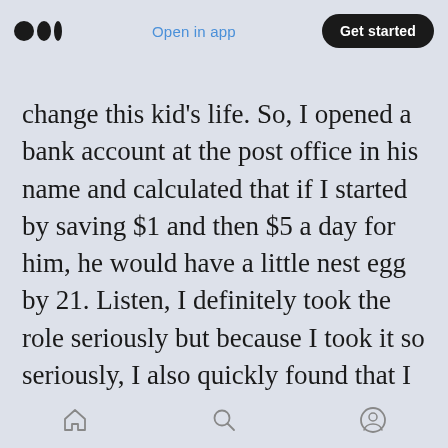Open in app  Get started
change this kid's life. So, I opened a bank account at the post office in his name and calculated that if I started by saving $1 and then $5 a day for him, he would have a little nest egg by 21. Listen, I definitely took the role seriously but because I took it so seriously, I also quickly found that I didn't like aspects of it in the way godparents are expected to function in our culture: default babysitters, default financial support, and default fixer of all things including providing any gifts or amenities such as school books/supplies or vacations that the parent couldn't provide at the
home  search  profile